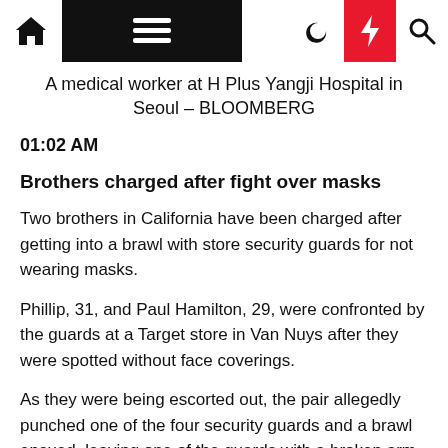Navigation bar with home, menu, moon, bolt, search icons
A medical worker at H Plus Yangji Hospital in Seoul – BLOOMBERG
01:02 AM
Brothers charged after fight over masks
Two brothers in California have been charged after getting into a brawl with store security guards for not wearing masks.
Phillip, 31, and Paul Hamilton, 29, were confronted by the guards at a Target store in Van Nuys after they were spotted without face coverings.
As they were being escorted out, the pair allegedly punched one of the four security guards and a brawl ensued, leaving one of the guards with a broken arm,